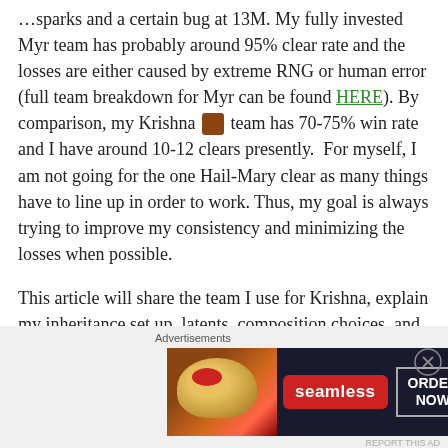...sparks and a certain bug at 13M. My fully invested Myr team has probably around 95% clear rate and the losses are either caused by extreme RNG or human error (full team breakdown for Myr can be found HERE). By comparison, my Krishna 🎮 team has 70-75% win rate and I have around 10-12 clears presently.  For myself, I am not going for the one Hail-Mary clear as many things have to line up in order to work. Thus, my goal is always trying to improve my consistency and minimizing the losses when possible.
This article will share the team I use for Krishna, explain my inheritance set up, latents, composition choices, and Arena 3 specific strategies. If you wish to read my Krishna team building guide and full analysis, please refer to my previous post HERE.
[Figure (infographic): Seamless food delivery advertisement banner with pizza image on left, Seamless logo in red badge in center, and ORDER NOW button on right, on dark background.]